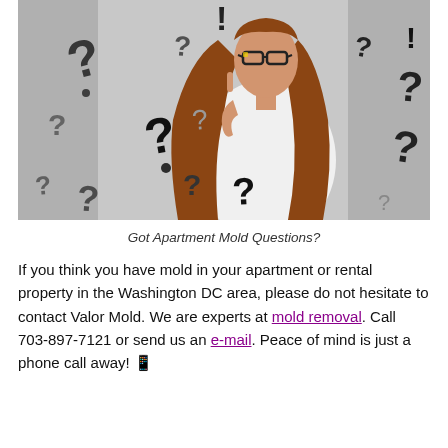[Figure (photo): Photo of a woman with glasses and long hair posing thoughtfully with her finger on her chin, surrounded by many black question marks and exclamation points on a grey background.]
Got Apartment Mold Questions?
If you think you have mold in your apartment or rental property in the Washington DC area, please do not hesitate to contact Valor Mold. We are experts at mold removal. Call 703-897-7121 or send us an e-mail. Peace of mind is just a phone call away!